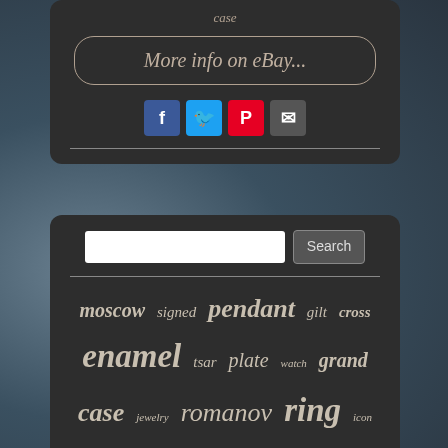case
More info on eBay...
[Figure (infographic): Social share icons: Facebook (blue), Twitter (light blue), Pinterest (red), Email (grey)]
Search
moscow signed pendant gilt cross enamel tsar plate watch grand case jewelry romanov ring icon sterling royal porcelain gold cigarette silver